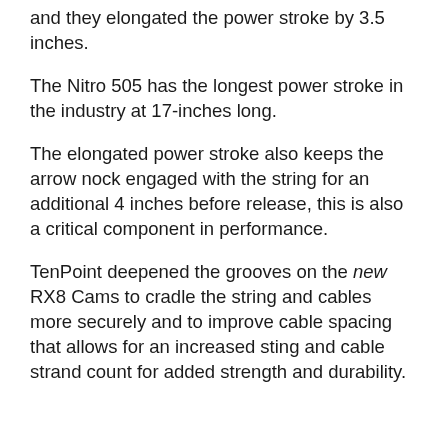and they elongated the power stroke by 3.5 inches.
The Nitro 505 has the longest power stroke in the industry at 17-inches long.
The elongated power stroke also keeps the arrow nock engaged with the string for an additional 4 inches before release, this is also a critical component in performance.
TenPoint deepened the grooves on the new RX8 Cams to cradle the string and cables more securely and to improve cable spacing that allows for an increased sting and cable strand count for added strength and durability.